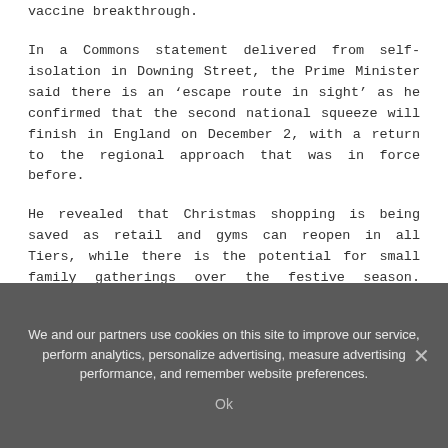vaccine breakthrough.
In a Commons statement delivered from self-isolation in Downing Street, the Prime Minister said there is an ‘escape route in sight’ as he confirmed that the second national squeeze will finish in England on December 2, with a return to the regional approach that was in force before.
He revealed that Christmas shopping is being saved as retail and gyms can reopen in all Tiers, while there is the potential for small family gatherings over the festive season. Spectator sports will also be able to make a limited comeback in the two lower levels.
But pubs and restaurants are set to pay the price with ‘devastating’ restrictions, sparking warnings that three
We and our partners use cookies on this site to improve our service, perform analytics, personalize advertising, measure advertising performance, and remember website preferences.
Ok